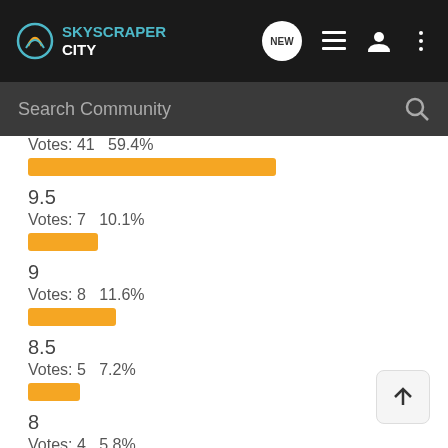SkyscraperCity
Search Community
Votes: 41   59.4%
9.5
Votes: 7   10.1%
9
Votes: 8   11.6%
8.5
Votes: 5   7.2%
8
Votes: 4   5.8%
7.5